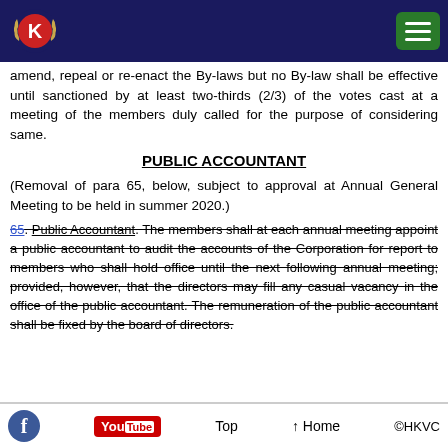HKVC logo and navigation header
amend, repeal or re-enact the By-laws but no By-law shall be effective until sanctioned by at least two-thirds (2/3) of the votes cast at a meeting of the members duly called for the purpose of considering same.
PUBLIC ACCOUNTANT
(Removal of para 65, below, subject to approval at Annual General Meeting to be held in summer 2020.)
65. Public Accountant. The members shall at each annual meeting appoint a public accountant to audit the accounts of the Corporation for report to members who shall hold office until the next following annual meeting; provided, however, that the directors may fill any casual vacancy in the office of the public accountant. The remuneration of the public accountant shall be fixed by the board of directors.
Top | Home | ©HKVC